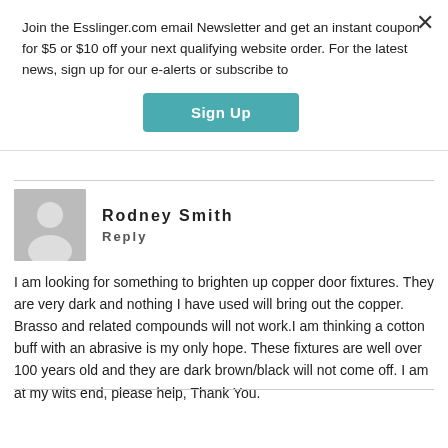Join the Esslinger.com email Newsletter and get an instant coupon for $5 or $10 off your next qualifying website order. For the latest news, sign up for our e-alerts or subscribe to
Sign Up
Rodney Smith
Reply
I am looking for something to brighten up copper door fixtures. They are very dark and nothing I have used will bring out the copper. Brasso and related compounds will not work.I am thinking a cotton buff with an abrasive is my only hope. These fixtures are well over 100 years old and they are dark brown/black will not come off. I am at my wits end, please help, Thank You.